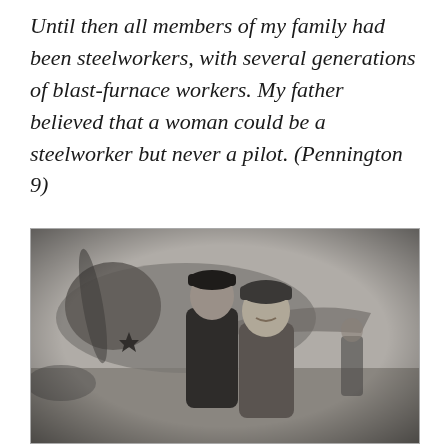Until then all members of my family had been steelworkers, with several generations of blast-furnace workers. My father believed that a woman could be a steelworker but never a pilot. (Pennington 9)
[Figure (photo): Black and white photograph of two Soviet military pilots in uniform standing in front of a propeller aircraft with a star emblem. The aircraft's nose and propeller are visible behind them.]